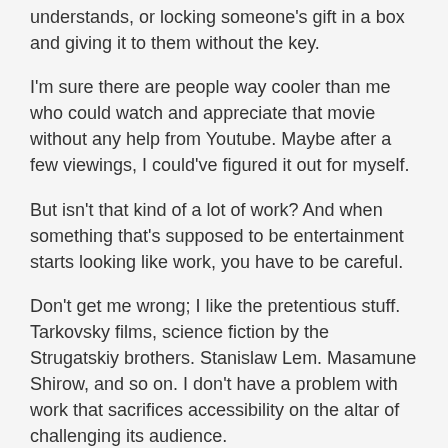understands, or locking someone's gift in a box and giving it to them without the key.
I'm sure there are people way cooler than me who could watch and appreciate that movie without any help from Youtube. Maybe after a few viewings, I could've figured it out for myself.
But isn't that kind of a lot of work? And when something that's supposed to be entertainment starts looking like work, you have to be careful.
Don't get me wrong; I like the pretentious stuff. Tarkovsky films, science fiction by the Strugatskiy brothers. Stanislaw Lem. Masamune Shirow, and so on. I don't have a problem with work that sacrifices accessibility on the altar of challenging its audience.
So what made this movie different? It must've been the